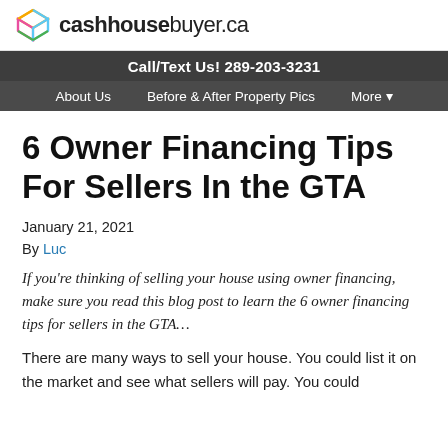cashhousebuyer.ca
Call/Text Us! 289-203-3231
About Us   Before & After Property Pics   More ▾
6 Owner Financing Tips For Sellers In the GTA
January 21, 2021
By Luc
If you're thinking of selling your house using owner financing, make sure you read this blog post to learn the 6 owner financing tips for sellers in the GTA…
There are many ways to sell your house. You could list it on the market and see what sellers will pay. You could